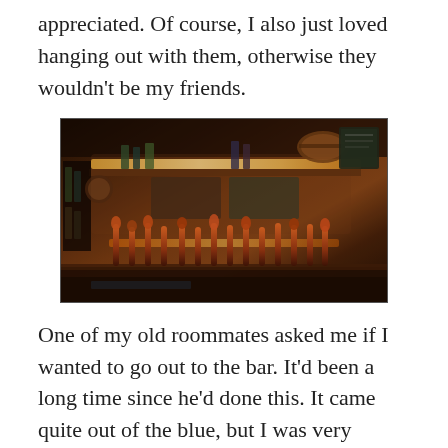appreciated. Of course, I also just loved hanging out with them, otherwise they wouldn't be my friends.
[Figure (photo): Interior photo of a bar showing a row of beer tap handles along the counter, with bottle displays on the left, warm amber lighting from under shelves, and a chalkboard sign in the upper right.]
One of my old roommates asked me if I wanted to go out to the bar. It'd been a long time since he'd done this. It came quite out of the blue, but I was very happy for the invitation. Since we don't live together, we get along much better. It wasn't that we fought all the time while we lived